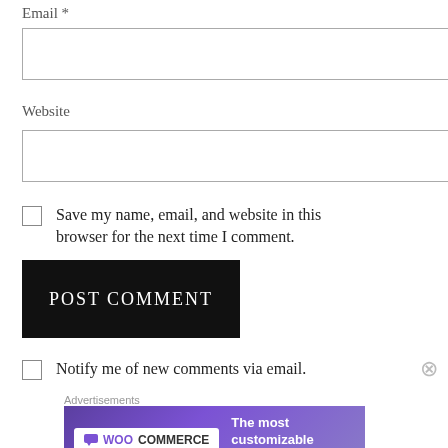Email *
[Figure (other): Empty text input box for Email]
Website
[Figure (other): Empty text input box for Website]
Save my name, email, and website in this browser for the next time I comment.
[Figure (other): POST COMMENT button, black background, white text]
Notify me of new comments via email.
Advertisements
[Figure (other): WooCommerce advertisement banner: The most customizable eCommerce platform]